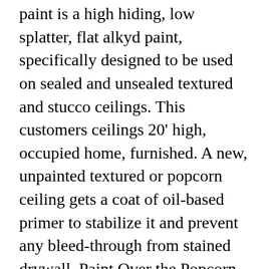paint is a high hiding, low splatter, flat alkyd paint, specifically designed to be used on sealed and unsealed textured and stucco ceilings. This customers ceilings 20' high, occupied home, furnished. A new, unpainted textured or popcorn ceiling gets a coat of oil-based primer to stabilize it and prevent any bleed-through from stained drywall. Paint Over the Popcorn Ceiling Don't roll back and forth because once the popcorn gets wet it starts to peel. This product has a low sheen, which makes it perfect for ceilings. Next, dilute the paint with water and transfer it to an airless paint sprayer for the easiest application. This is by far the most common method of popcorn